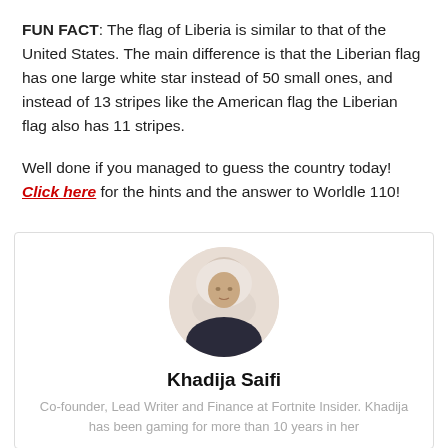FUN FACT: The flag of Liberia is similar to that of the United States. The main difference is that the Liberian flag has one large white star instead of 50 small ones, and instead of 13 stripes like the American flag the Liberian flag also has 11 stripes.
Well done if you managed to guess the country today! Click here for the hints and the answer to Worldle 110!
[Figure (photo): Circular profile photo of Khadija Saifi wearing a white hijab, set inside an author bio card with a light border.]
Khadija Saifi
Co-founder, Lead Writer and Finance at Fortnite Insider. Khadija has been gaming for more than 10 years in her